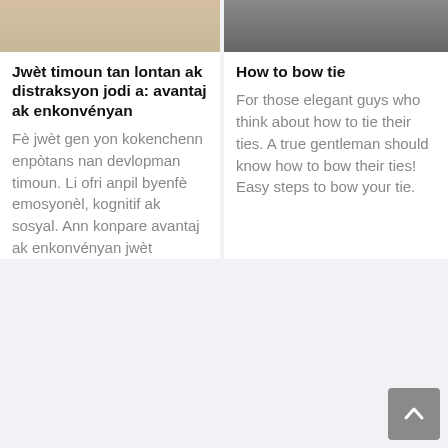[Figure (photo): Top of left card image — outdoor scene with figures, appears to be cropped at top]
[Figure (photo): Top of right card image — black and white photo of person, cropped at top]
Jwèt timoun tan lontan ak distraksyon jodi a: avantaj ak enkonvényan
How to bow tie
Fè jwèt gen yon kokenchenn enpòtans nan devlopman timoun. Li ofri anpil byenfè emosyonèl, kognitif ak sosyal. Ann konpare avantaj ak enkonvényan jwèt
For those elegant guys who think about how to tie their ties. A true gentleman should know how to bow their ties! Easy steps to bow your tie.